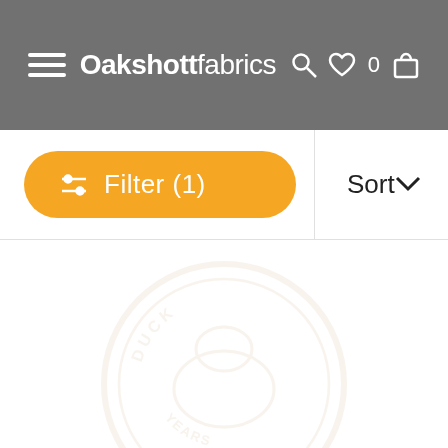Oakshott fabrics — navigation bar with menu, search, wishlist (0), cart icons
Filter (1)
Sort
[Figure (logo): Oakshott fabrics circular watermark logo, very faint, partially visible at the bottom of the page]